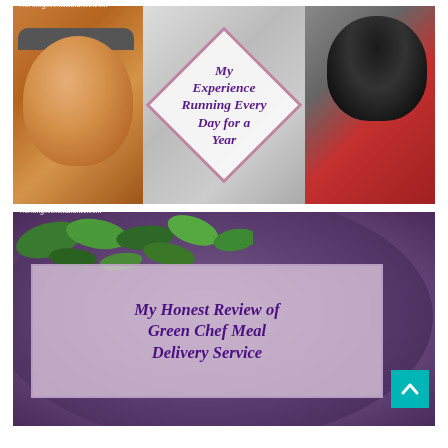[Figure (photo): Blog post thumbnail showing two running selfies flanking a center diamond-bordered text overlay on a grey background. Left photo: woman with headband and earbuds, sweaty face. Right photo: person in black balaclava and pink jacket. Center text reads 'My Experience Running Every Day for a Year'. Watermark: WorkingMomsBalance.com]
[Figure (photo): Blog post thumbnail showing a purple plate with a salad/wrap meal (green leaves, avocado, colorful ingredients) on a wooden surface. A semi-transparent pink/lavender text box overlay reads 'My Honest Review of Green Chef Meal Delivery Service'. Watermark: WorkingMomsBalance.com. Teal scroll-to-top button in bottom-right corner.]